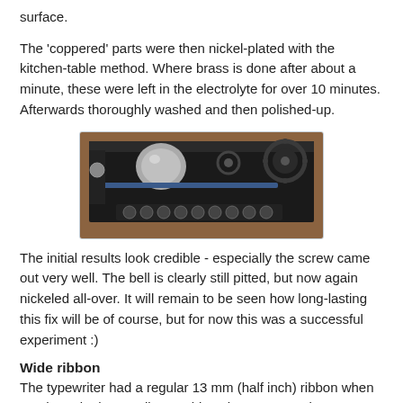surface.
The 'coppered' parts were then nickel-plated with the kitchen-table method. Where brass is done after about a minute, these were left in the electrolyte for over 10 minutes. Afterwards thoroughly washed and then polished-up.
[Figure (photo): Top-down view of a typewriter mechanism showing gears, bell, and internal components on a wooden surface.]
The initial results look credible - especially the screw came out very well. The bell is clearly still pitted, but now again nickeled all-over. It will remain to be seen how long-lasting this fix will be of course, but for now this was a successful experiment :)
Wide ribbon
The typewriter had a regular 13 mm (half inch) ribbon when purchased. These Erika machines however need a 16 mm